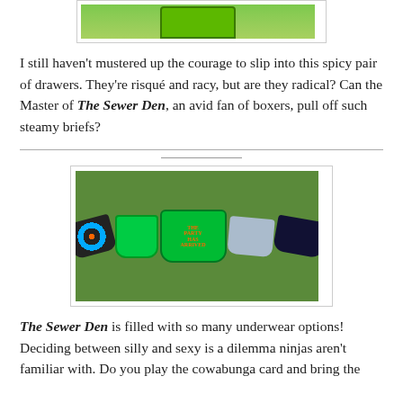[Figure (photo): Partial photo at top showing green item of clothing/underwear on a light background, cut off at top edge]
I still haven't mustered up the courage to slip into this spicy pair of drawers. They're risqué and racy, but are they radical? Can the Master of The Sewer Den, an avid fan of boxers, pull off such steamy briefs?
[Figure (photo): Photo of multiple Teenage Mutant Ninja Turtles themed underwear/briefs laid out on green grass, including colorful patterned pairs, one green pair with 'THE PARTY HAS ARRIVED' text and a Michelangelo figure, a lighter pair, and a dark pair with TMNT characters]
The Sewer Den is filled with so many underwear options! Deciding between silly and sexy is a dilemma ninjas aren't familiar with. Do you play the cowabunga card and bring the